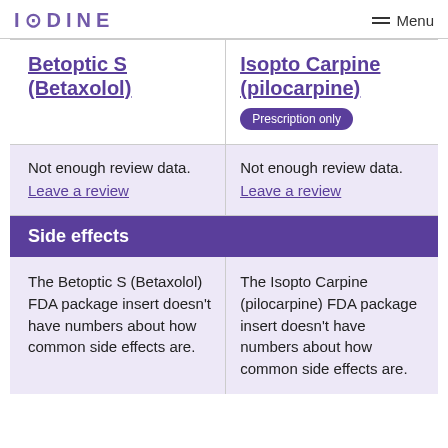IODINE  Menu
| Betoptic S (Betaxolol) | Isopto Carpine (pilocarpine) |
| --- | --- |
| Not enough review data.
Leave a review | Not enough review data.
Leave a review |
| Side effects |  |
| The Betoptic S (Betaxolol) FDA package insert doesn't have numbers about how common side effects are. | The Isopto Carpine (pilocarpine) FDA package insert doesn't have numbers about how common side effects are. |